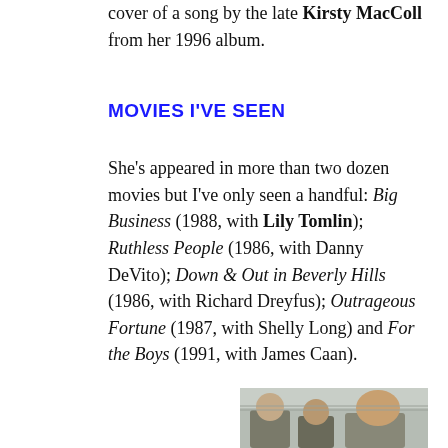cover of a song by the late Kirsty MacColl from her 1996 album.
MOVIES I'VE SEEN
She's appeared in more than two dozen movies but I've only seen a handful: Big Business (1988, with Lily Tomlin); Ruthless People (1986, with Danny DeVito); Down & Out in Beverly Hills (1986, with Richard Dreyfus); Outrageous Fortune (1987, with Shelly Long) and For the Boys (1991, with James Caan).
[Figure (photo): Photo of three people, two men and a woman with curly hair, indoors]